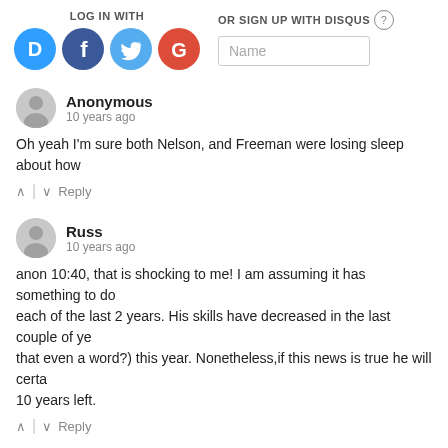LOG IN WITH | OR SIGN UP WITH DISQUS
[Figure (screenshot): Social login icons: Disqus (D, blue), Facebook (f, dark blue), Twitter (bird, light blue), Google (G, red), followed by a Name text input field]
Anonymous
10 years ago
Oh yeah I'm sure both Nelson, and Freeman were losing sleep about how
^ | v Reply
Russ
10 years ago
anon 10:40, that is shocking to me! I am assuming it has something to do with each of the last 2 years. His skills have decreased in the last couple of years... that even a word?) this year. Nonetheless,if this news is true he will certainly... 10 years left.
^ | v Reply
Anonymous
10 years ago
Tschida will not be working any more games as a Major League Umpire